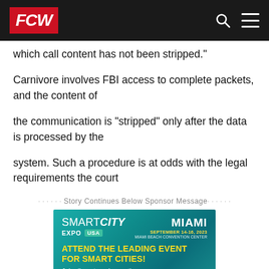FCW
which call content has not been stripped."
Carnivore involves FBI access to complete packets, and the content of
the communication is "stripped" only after the data is processed by the
system. Such a procedure is at odds with the legal requirements the court
· · · · · · Story Continues Below Sponsor Message · · · · · ·
[Figure (infographic): Smart City Expo USA advertisement banner. MIAMI, SEPTEMBER 14-16, 2023, MIAMI BEACH CONVENTION CENTER. ATTEND THE LEADING EVENT FOR SMART CITIES! Join disrupters, innovative government leaders, and visionary]